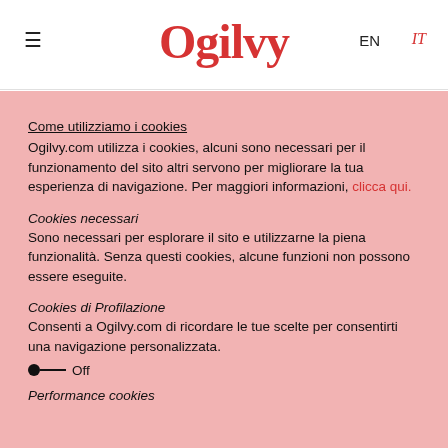≡  Ogilvy  EN  IT
Come utilizziamo i cookies
Ogilvy.com utilizza i cookies, alcuni sono necessari per il funzionamento del sito altri servono per migliorare la tua esperienza di navigazione. Per maggiori informazioni, clicca qui.
Cookies necessari
Sono necessari per esplorare il sito e utilizzarne la piena funzionalità. Senza questi cookies, alcune funzioni non possono essere eseguite.
Cookies di Profilazione
Consenti a Ogilvy.com di ricordare le tue scelte per consentirti una navigazione personalizzata.
● — Off
Performance cookies